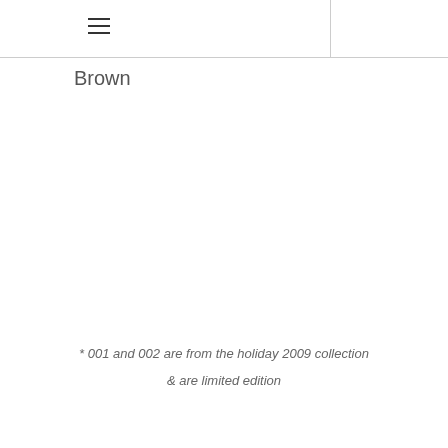Brown
* 001 and 002 are from the holiday 2009 collection & are limited edition